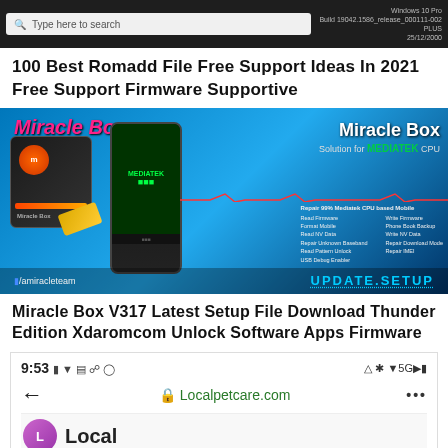[Figure (screenshot): Windows 10 taskbar and browser address bar at top of screen]
100 Best Romadd File Free Support Ideas In 2021 Free Support Firmware Supportive
[Figure (photo): Miracle Box hardware device advertisement showing a black box device, USB drive, and smartphone with MediaTek CPU branding. Text reads 'Miracle Box', 'Solution for MEDIATEK CPU', 'UPDATE.SETUP', '/amiracleteam'. Features list includes Repair 99% Mediatek CPU based Mobile, Read Firmware, Write Firmware, Format Mobile, Phone Book Backup, Read NV Data, Write NV Data, Repair Unknown Baseband, Repair Download Mode, Read Pattern Unlock, Repair IMEI, USB Debug Enabler.]
Miracle Box V317 Latest Setup File Download Thunder Edition Xdaromcom Unlock Software Apps Firmware
[Figure (screenshot): Mobile phone screenshot showing status bar with time 9:53, icons, 5G signal, and address bar showing Localpetcare.com with a green padlock. Below shows beginning of website with Local logo (purple circle).]